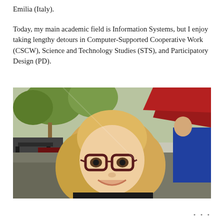Emilia (Italy).
Today, my main academic field is Information Systems, but I enjoy taking lengthy detours in Computer-Supported Cooperative Work (CSCW), Science and Technology Studies (STS), and Participatory Design (PD).
[Figure (photo): A smiling young woman with blonde hair and dark red-framed glasses, seated at an outdoor café setting with trees and a red awning in the background.]
• • •